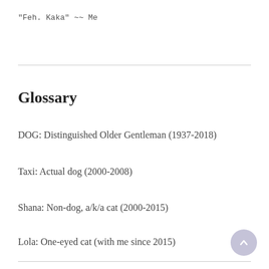"Feh. Kaka" ~~ Me
Glossary
DOG: Distinguished Older Gentleman (1937-2018)
Taxi: Actual dog (2000-2008)
Shana: Non-dog, a/k/a cat (2000-2015)
Lola: One-eyed cat (with me since 2015)